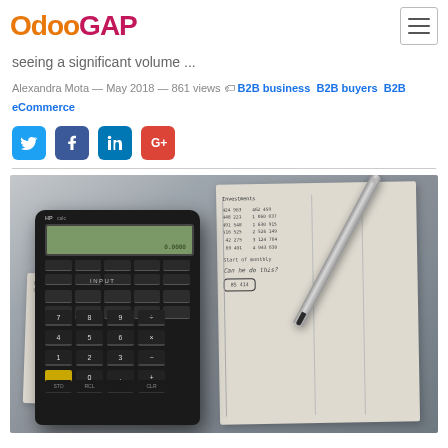OdooGAP
seeing a significant volume ...
Alexandra Mota — May 2018 — 861 views  B2B business  B2B buyers  B2B eCommerce
[Figure (infographic): Social media sharing icons: Twitter, Facebook, LinkedIn, Google+]
[Figure (photo): Photo of an HP calculator on top of financial documents/spreadsheets with a pen, showing numbers and calculations]